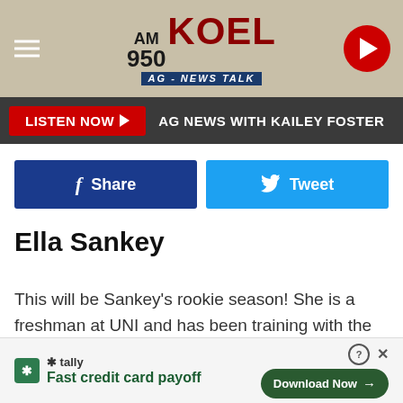[Figure (screenshot): AM 950 KOEL AG-NEWS TALK radio station header logo with hamburger menu on left and play button on right]
LISTEN NOW ▶ AG NEWS WITH KAILEY FOSTER
[Figure (screenshot): Facebook Share button and Twitter Tweet button]
Ella Sankey
This will be Sankey's rookie season!  She is a freshman at UNI and has been training with the gym since the very beginning.
[Figure (screenshot): Tally advertisement - Fast credit card payoff with Download Now button]